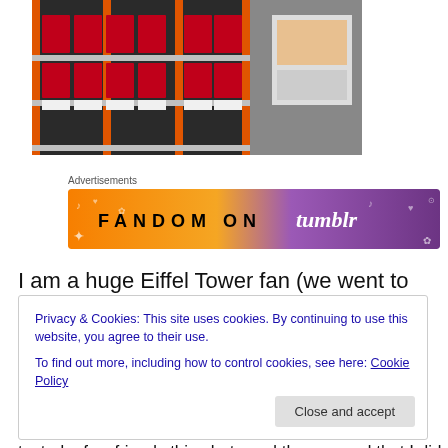[Figure (photo): Retail store shelf with red product boxes arranged on orange metal shelving units, with a sign/advertisement visible on the right side]
Advertisements
[Figure (infographic): Tumblr advertisement banner reading FANDOM ON tumblr with colorful gradient background from orange to purple with music and heart doodles]
I am a huge Eiffel Tower fan (we went to Paris for our
Privacy & Cookies: This site uses cookies. By continuing to use this website, you agree to their use.
To find out more, including how to control cookies, see here: Cookie Policy
Close and accept
texted a few friends this photo and they agreed that I did.